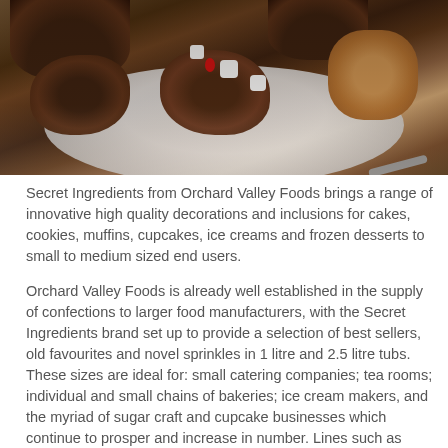[Figure (photo): Photo of chocolate-covered treats and confections displayed on a white plate, including chocolate cupcakes/muffins in brown paper cases, rocky road-style chocolates with marshmallows and red candy decorations, and a golden coconut macaroon or similar, arranged on a wooden surface with a utensil visible.]
Secret Ingredients from Orchard Valley Foods brings a range of innovative high quality decorations and inclusions for cakes, cookies, muffins, cupcakes, ice creams and frozen desserts to small to medium sized end users.
Orchard Valley Foods is already well established in the supply of confections to larger food manufacturers, with the Secret Ingredients brand set up to provide a selection of best sellers, old favourites and novel sprinkles in 1 litre and 2.5 litre tubs. These sizes are ideal for: small catering companies; tea rooms; individual and small chains of bakeries; ice cream makers, and the myriad of sugar craft and cupcake businesses which continue to prosper and increase in number. Lines such as Five-Colour Star Mix, Lemon Yellow Crunch, Bronze Pearls and Mini Chocolate Beans all feature in the Secret Ingredients portfolio. National Account